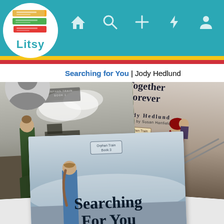[Figure (screenshot): Litsy app screenshot showing navigation bar with logo, search, add, activity, and profile icons]
Searching for You | Jody Hedlund
[Figure (illustration): Three book covers displayed: 'With You Always' by Jody Hedlund (Orphan Train Book 1), 'Together Forever' by Jody Hedlund (Orphan Train Book 2), and 'Searching for You' (Orphan Train Book 3), arranged overlapping at angles against a light gray background.]